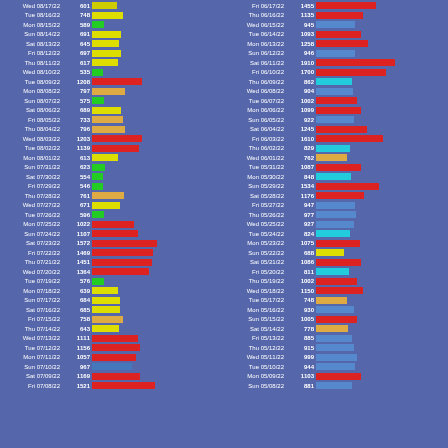[Figure (bar-chart): Daily counts (two columns of dates)]